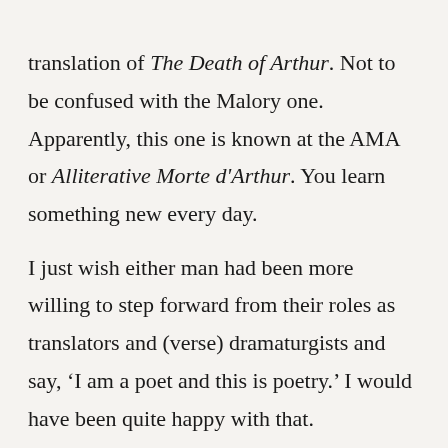translation of The Death of Arthur. Not to be confused with the Malory one. Apparently, this one is known at the AMA or Alliterative Morte d'Arthur. You learn something new every day.

I just wish either man had been more willing to step forward from their roles as translators and (verse) dramaturgists and say, 'I am a poet and this is poetry.' I would have been quite happy with that.